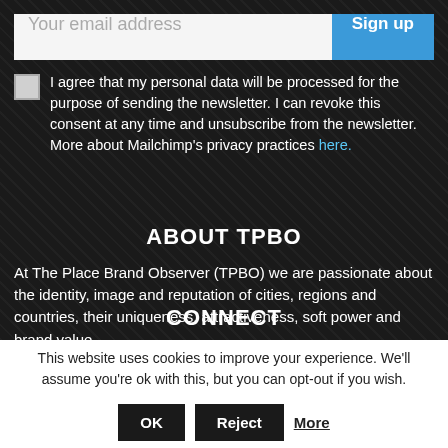Your email address [input] Sign up [button]
I agree that my personal data will be processed for the purpose of sending the newsletter. I can revoke this consent at any time and unsubscribe from the newsletter. More about Mailchimp's privacy practices here.
ABOUT TPBO
At The Place Brand Observer (TPBO) we are passionate about the identity, image and reputation of cities, regions and countries, their uniqueness, attractiveness, soft power and brand value.
CONNECT
This website uses cookies to improve your experience. We'll assume you're ok with this, but you can opt-out if you wish.
OK  Reject  More